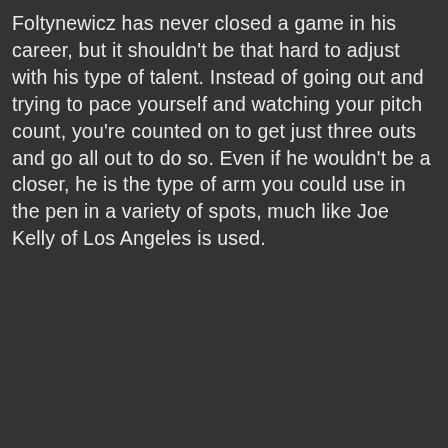Foltynewicz has never closed a game in his career, but it shouldn't be that hard to adjust with his type of talent. Instead of going out and trying to pace yourself and watching your pitch count, you're counted on to get just three outs and go all out to do so. Even if he wouldn't be a closer, he is the type of arm you could use in the pen in a variety of spots, much like Joe Kelly of Los Angeles is used.